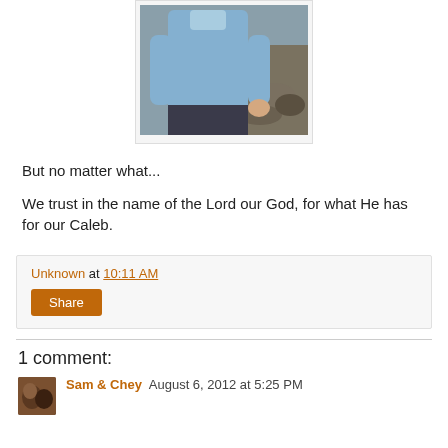[Figure (photo): Partial photo of a person in a light blue shirt, with rocks visible in the background. Image is cropped showing torso area.]
But no matter what...
We trust in the name of the Lord our God, for what He has for our Caleb.
Unknown at 10:11 AM
Share
1 comment:
Sam & Chey August 6, 2012 at 5:25 PM